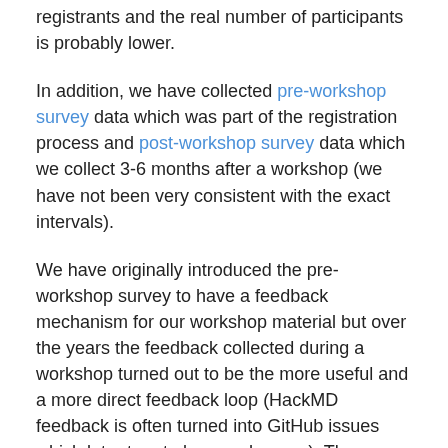registrants and the real number of participants is probably lower.
In addition, we have collected pre-workshop survey data which was part of the registration process and post-workshop survey data which we collect 3-6 months after a workshop (we have not been very consistent with the exact intervals).
We have originally introduced the pre-workshop survey to have a feedback mechanism for our workshop material but over the years the feedback collected during a workshop turned out to be the more useful and a more direct feedback loop (HackMD feedback is often turned into GitHub issues which later turn to lesson changes). The pre-workshop survey generated interesting data but it wasn't really driving lesson changes.
Motivation to introduce the post-workshop survey was to ask whether anything has changed for the participants